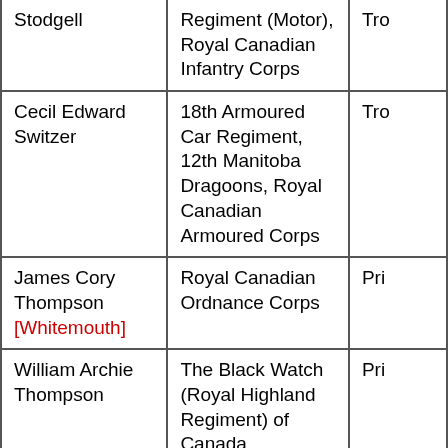| Name | Regiment/Corps | Rank |
| --- | --- | --- |
| Stodgell | Regiment (Motor), Royal Canadian Infantry Corps | Tro… |
| Cecil Edward Switzer | 18th Armoured Car Regiment, 12th Manitoba Dragoons, Royal Canadian Armoured Corps | Tro… |
| James Cory Thompson [Whitemouth] | Royal Canadian Ordnance Corps | Pri… |
| William Archie Thompson | The Black Watch (Royal Highland Regiment) of Canada | Pri… |
| Adolph Weidner | Regina Rifle Regiment, Royal Canadian | Rif… |